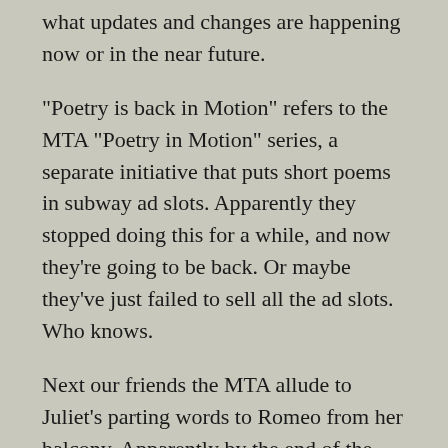what updates and changes are happening now or in the near future.
"Poetry is back in Motion" refers to the MTA "Poetry in Motion" series, a separate initiative that puts short poems in subway ad slots. Apparently they stopped doing this for a while, and now they're going to be back. Or maybe they've just failed to sell all the ad slots. Who knows.
Next our friends the MTA allude to Juliet's parting words to Romeo from her balcony. Apparently by the end of the play both Poetry in Motion and all subway riders will be dead. But seriously, this